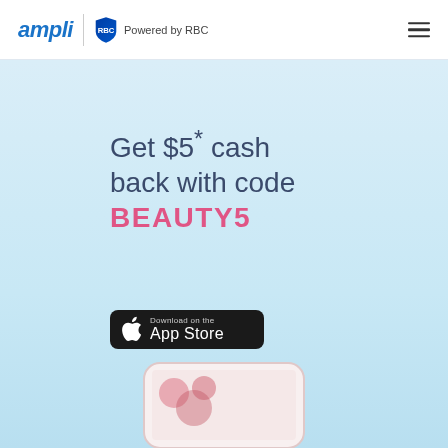ampli | Powered by RBC
Get $5* cash back with code BEAUTY5
[Figure (logo): Download on the App Store button]
[Figure (photo): Mobile phone mockup showing the Ampli app at the bottom of the page]